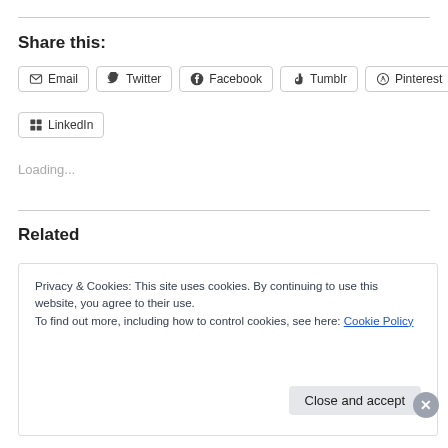Share this:
[Figure (other): Social sharing buttons: Email, Twitter, Facebook, Tumblr, Pinterest, LinkedIn]
Loading...
Related
Privacy & Cookies: This site uses cookies. By continuing to use this website, you agree to their use.
To find out more, including how to control cookies, see here: Cookie Policy
[Close and accept]